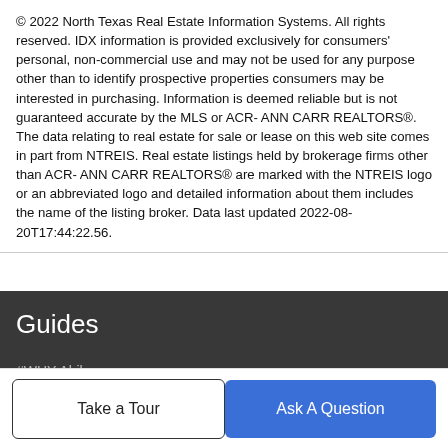© 2022 North Texas Real Estate Information Systems. All rights reserved. IDX information is provided exclusively for consumers' personal, non-commercial use and may not be used for any purpose other than to identify prospective properties consumers may be interested in purchasing. Information is deemed reliable but is not guaranteed accurate by the MLS or ACR- ANN CARR REALTORS®. The data relating to real estate for sale or lease on this web site comes in part from NTREIS. Real estate listings held by brokerage firms other than ACR- ANN CARR REALTORS® are marked with the NTREIS logo or an abbreviated logo and detailed information about them includes the name of the listing broker. Data last updated 2022-08-20T17:44:22.56.
Guides
#WHY Abilene
Abilene
Abilene ISD